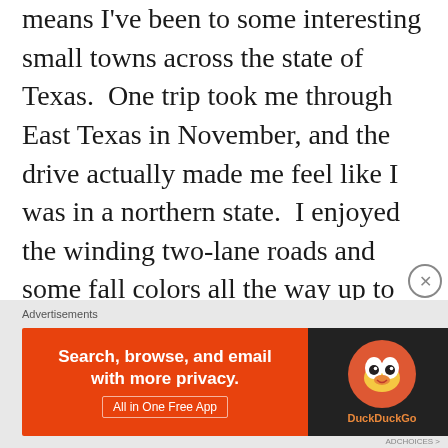means I've been to some interesting small towns across the state of Texas.  One trip took me through East Texas in November, and the drive actually made me feel like I was in a northern state.  I enjoyed the winding two-lane roads and some fall colors all the way up to Tyler, where my flip phone unceremoniously died.  After scrambling to find an AT&T store, I purchased my very first iPhone and made my way up to Sulphur Springs.  I arrived after dark, worked my event, and as a Hilton brand loyalist, I continued north to the closest one I
Advertisements
[Figure (other): DuckDuckGo advertisement banner: orange left side with text 'Search, browse, and email with more privacy. All in One Free App' and dark right side with DuckDuckGo duck logo]